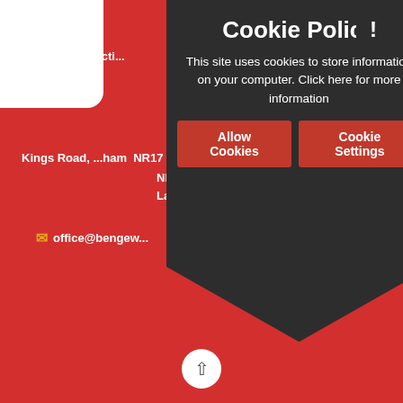Inclu...
Virtu... Acti...
Kings Road, ...ham  NR17 3D | leafed Road, Ber-..as  NR17 SB  Las-4Uni
office@bengew...  ×  ...al
[Figure (infographic): Cookie Policy modal overlay on a school website footer. Dark polygon-shaped popup with title 'Cookie Policy', body text 'This site uses cookies to store information on your computer. Click here for more information', and two red buttons: 'Allow Cookies' and 'Cookie Settings'. Exclamation mark badge in top-right corner.]
Cookie Policy
This site uses cookies to store information on your computer. Click here for more information
Allow Cookies
Cookie Settings
© 2022 Bengeworth CE Academy
School Website Design by e4education
High Visibility Version · Sitemap · Privacy Policy · Cookie Settings